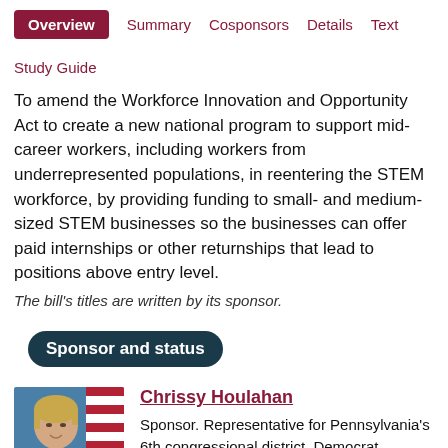Overview | Summary | Cosponsors | Details | Text | Study Guide
To amend the Workforce Innovation and Opportunity Act to create a new national program to support mid-career workers, including workers from underrepresented populations, in reentering the STEM workforce, by providing funding to small- and medium-sized STEM businesses so the businesses can offer paid internships or other returnships that lead to positions above entry level.
The bill's titles are written by its sponsor.
Sponsor and status
[Figure (photo): Portrait photo of Chrissy Houlahan, a woman with short blonde hair, smiling, wearing a dark teal jacket with a pearl necklace, in front of an American flag and blue background.]
Chrissy Houlahan
Sponsor. Representative for Pennsylvania's 6th congressional district. Democrat.